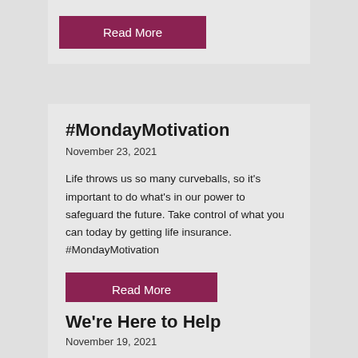Read More
#MondayMotivation
November 23, 2021
Life throws us so many curveballs, so it's important to do what's in our power to safeguard the future. Take control of what you can today by getting life insurance. #MondayMotivation
Read More
We're Here to Help
November 19, 2021